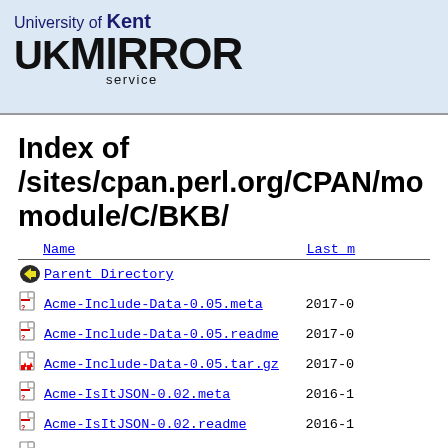University of Kent UKMIRROR service
Index of /sites/cpan.perl.org/CPAN/module/C/BKB/
| Name | Last m |
| --- | --- |
| [Parent Directory icon] Parent Directory |  |
| [?] Acme-Include-Data-0.05.meta | 2017-0 |
| [?] Acme-Include-Data-0.05.readme | 2017-0 |
| [gz] Acme-Include-Data-0.05.tar.gz | 2017-0 |
| [?] Acme-IsItJSON-0.02.meta | 2016-1 |
| [?] Acme-IsItJSON-0.02.readme | 2016-1 |
| [gz] Acme-IsItJSON-0.02.tar.gz | 2016-1 |